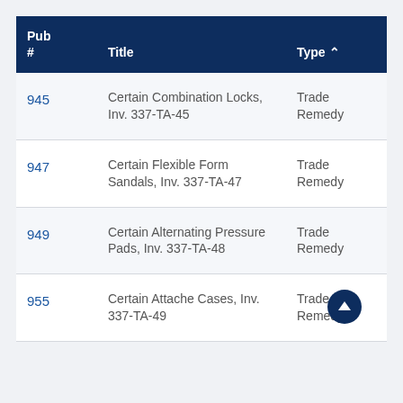| Pub # | Title | Type |
| --- | --- | --- |
| 945 | Certain Combination Locks, Inv. 337-TA-45 | Trade Remedy |
| 947 | Certain Flexible Form Sandals, Inv. 337-TA-47 | Trade Remedy |
| 949 | Certain Alternating Pressure Pads, Inv. 337-TA-48 | Trade Remedy |
| 955 | Certain Attache Cases, Inv. 337-TA-49 | Trade Remedy |